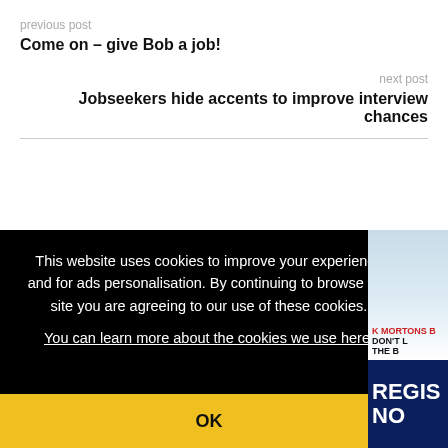previous post
Come on – give Bob a job!
next post
Jobseekers hide accents to improve interview chances
This website uses cookies to improve your experience and for ads personalisation. By continuing to browse this site you are agreeing to our use of these cookies.
You can learn more about the cookies we use here.
OK